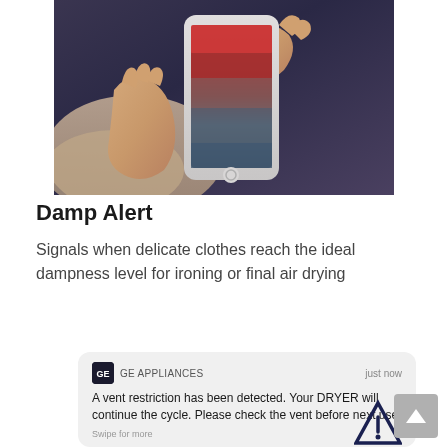[Figure (photo): Person holding a smartphone, sitting down, wearing casual clothes]
Damp Alert
Signals when delicate clothes reach the ideal dampness level for ironing or final air drying
[Figure (screenshot): GE Appliances push notification reading: 'A vent restriction has been detected. Your DRYER will continue the cycle. Please check the vent before next use.' with 'Swipe for more' below, and a warning triangle icon partially visible at the bottom right.]